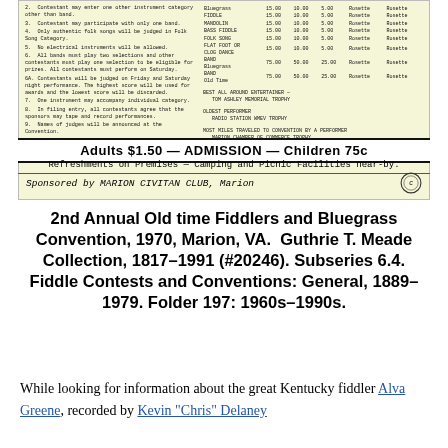[Figure (photo): Scanned flyer for 2nd Annual Old time Fiddlers and Bluegrass Convention showing rules, prize table, admission price, refreshments, and sponsor information]
2nd Annual Old time Fiddlers and Bluegrass Convention, 1970, Marion, VA. Guthrie T. Meade Collection, 1817-1991 (#20246). Subseries 6.4. Fiddle Contests and Conventions: General, 1889-1979. Folder 197: 1960s-1990s.
While looking for information about the great Kentucky fiddler Alva Greene, recorded by Kevin "Chris" Delaney